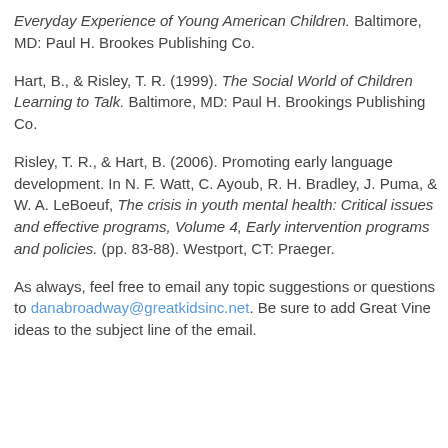Everyday Experience of Young American Children. Baltimore, MD: Paul H. Brookes Publishing Co.
Hart, B., & Risley, T. R. (1999). The Social World of Children Learning to Talk. Baltimore, MD: Paul H. Brookings Publishing Co.
Risley, T. R., & Hart, B. (2006). Promoting early language development. In N. F. Watt, C. Ayoub, R. H. Bradley, J. Puma, & W. A. LeBoeuf, The crisis in youth mental health: Critical issues and effective programs, Volume 4, Early intervention programs and policies. (pp. 83-88). Westport, CT: Praeger.
As always, feel free to email any topic suggestions or questions to danabroadway@greatkidsinc.net. Be sure to add Great Vine ideas to the subject line of the email.